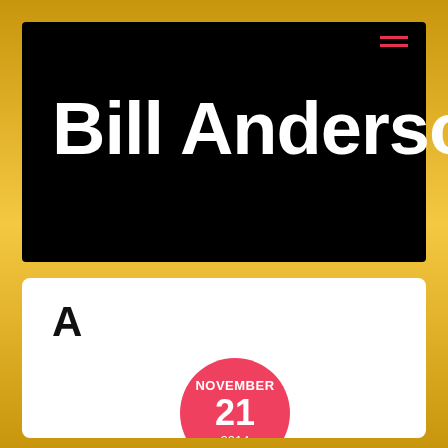Bill Anderson
[Figure (other): Hamburger menu icon with three red horizontal lines]
A
[Figure (other): Pink/red circle date badge showing NOVEMBER 21 2014]
American Pride